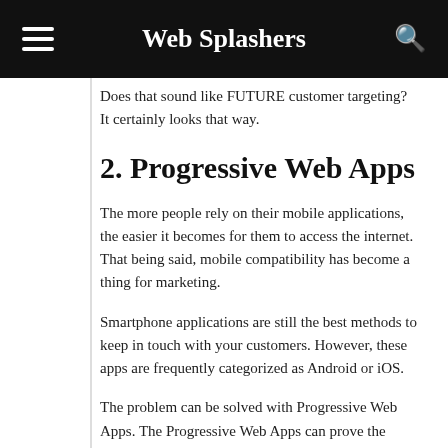Web Splashers
Does that sound like FUTURE customer targeting? It certainly looks that way.
2. Progressive Web Apps
The more people rely on their mobile applications, the easier it becomes for them to access the internet. That being said, mobile compatibility has become a thing for marketing.
Smartphone applications are still the best methods to keep in touch with your customers. However, these apps are frequently categorized as Android or iOS.
The problem can be solved with Progressive Web Apps. The Progressive Web Apps can prove the intermediate solution by standing in between application and website.